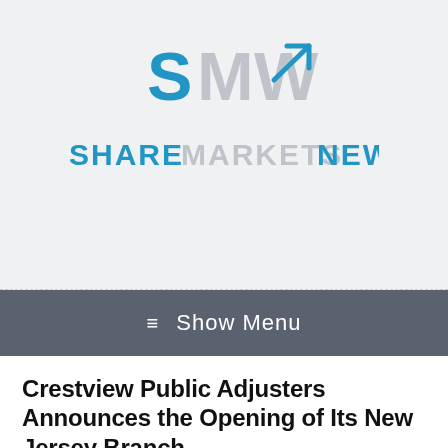[Figure (logo): Share Markets News logo with stylized S, M, W letters and upward trending arrow icon above the text SHARE MARKETS NEWS]
≡ Show Menu
Crestview Public Adjusters Announces the Opening of Its New Jersey Branch